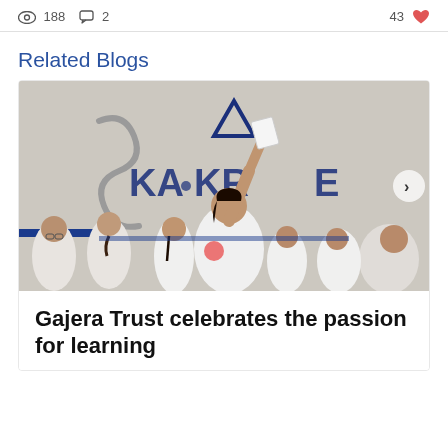188 views  2 comments  43 likes
Related Blogs
[Figure (photo): A girl in a white t-shirt raising a paper/book triumphantly in front of a wall with text 'KA KRASE', surrounded by other students in white uniforms in a school setting.]
Gajera Trust celebrates the passion for learning